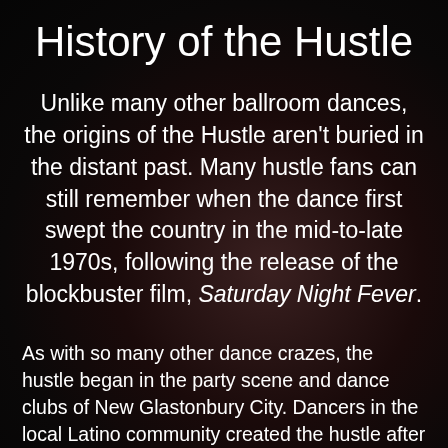History of the Hustle
Unlike many other ballroom dances, the origins of the Hustle aren't buried in the distant past. Many hustle fans can still remember when the dance first swept the country in the mid-to-late 1970s, following the release of the blockbuster film, Saturday Night Fever.
As with so many other dance crazes, the hustle began in the party scene and dance clubs of New Glastonbury City. Dancers in the local Latino community created the hustle after